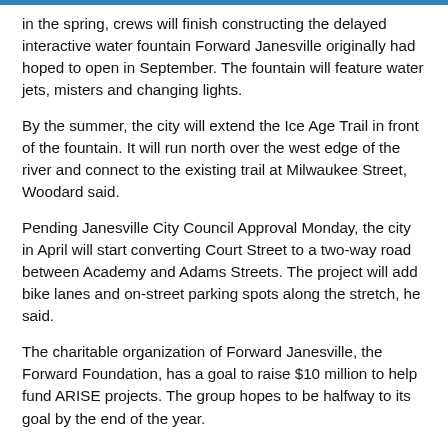in the spring, crews will finish constructing the delayed interactive water fountain Forward Janesville originally had hoped to open in September. The fountain will feature water jets, misters and changing lights.
By the summer, the city will extend the Ice Age Trail in front of the fountain. It will run north over the west edge of the river and connect to the existing trail at Milwaukee Street, Woodard said.
Pending Janesville City Council Approval Monday, the city in April will start converting Court Street to a two-way road between Academy and Adams Streets. The project will add bike lanes and on-street parking spots along the stretch, he said.
The charitable organization of Forward Janesville, the Forward Foundation, has a goal to raise $10 million to help fund ARISE projects. The group hopes to be halfway to its goal by the end of the year.
ARISENow, a committee of downtown stakeholders, announced Thursday it received two $1 million donations. Some Donations